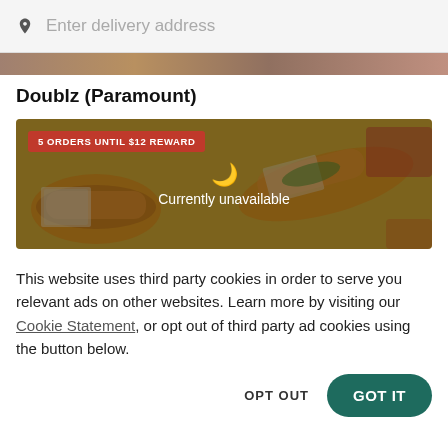Enter delivery address
[Figure (photo): Cropped food photo strip at top of restaurant listing]
Doublz (Paramount)
[Figure (photo): Restaurant promo image showing hot dogs on yellow background with '5 ORDERS UNTIL $12 REWARD' badge and 'Currently unavailable' overlay with moon icon]
This website uses third party cookies in order to serve you relevant ads on other websites. Learn more by visiting our Cookie Statement, or opt out of third party ad cookies using the button below.
OPT OUT  GOT IT